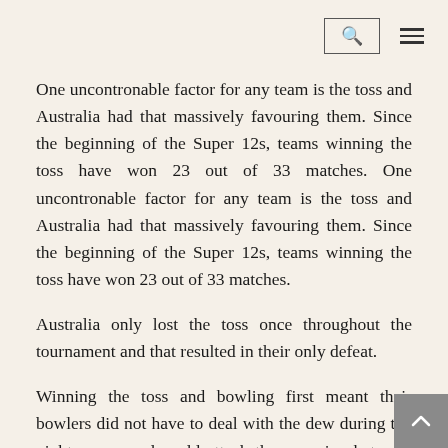search and menu icons
One uncontronable factor for any team is the toss and Australia had that massively favouring them. Since the beginning of the Super 12s, teams winning the toss have won 23 out of 33 matches.
Australia only lost the toss once throughout the tournament and that resulted in their only defeat.
Winning the toss and bowling first meant their bowlers did not have to deal with the dew during the night games and could attack the opposing batsmen early on with the new ball.
Josh Hazlewood was the best at this with the majority of his 11 tournament wickets coming during the powerplay. Additionally, the batsmen have not been hesitant to attack from early on in